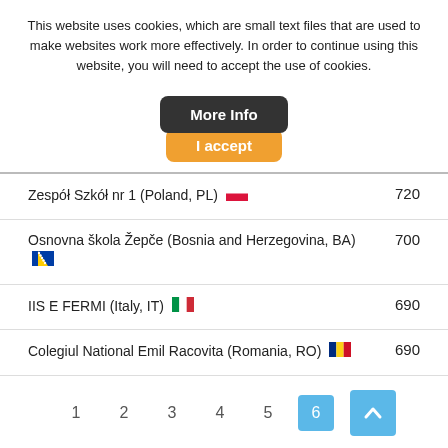This website uses cookies, which are small text files that are used to make websites work more effectively. In order to continue using this website, you will need to accept the use of cookies.
[Figure (screenshot): Two buttons: 'More Info' (dark grey/black rounded rectangle) and 'I accept' (orange rounded rectangle), stacked vertically and centered.]
| School | Score |
| --- | --- |
| Zespół Szkół nr 1 (Poland, PL) 🇵🇱 | 720 |
| Osnovna škola Žepče (Bosnia and Herzegovina, BA) 🇧🇦 | 700 |
| IIS E FERMI (Italy, IT) 🇮🇹 | 690 |
| Colegiul National Emil Racovita (Romania, RO) 🇷🇴 | 690 |
[Figure (screenshot): Pagination bar with page numbers 1,2,3,4,5, active page 6 (highlighted in blue), and a scroll-to-top button (blue square with up arrow) on the right.]